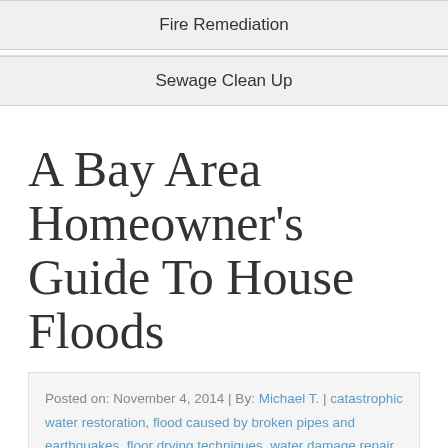Fire Remediation
Sewage Clean Up
A Bay Area Homeowner's Guide To House Floods
Posted on: November 4, 2014 | By: Michael T. | catastrophic water restoration, flood caused by broken pipes and earthquakes, floor drying techniques, water damage repair
Guide To House